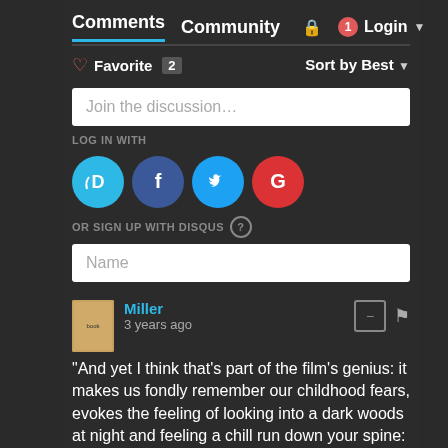Comments  Community  Login
♡ Favorite 2  Sort by Best
Join the discussion…
LOG IN WITH
[Figure (screenshot): Social login icons: Disqus (D), Facebook (f), Twitter bird, Google (G)]
OR SIGN UP WITH DISQUS ?
Name
Miller
3 years ago
"And yet I think that's part of the film's genius: it makes us fondly remember our childhood fears, evokes the feeling of looking into a dark woods at night and feeling a chill run down your spine: frightening and comforting all at once."